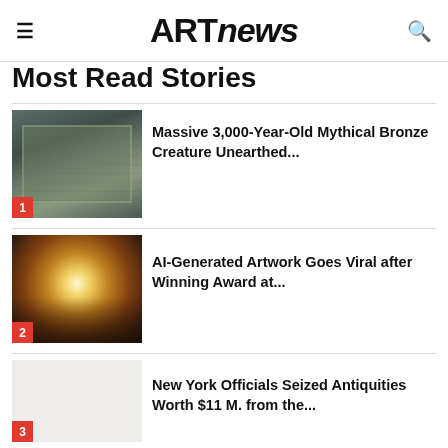ARTnews
Most Read Stories
[Figure (photo): Aerial view of an archaeological excavation site with a large pit filled with bronze artifacts]
Massive 3,000-Year-Old Mythical Bronze Creature Unearthed...
[Figure (photo): AI-generated artwork showing figures silhouetted against a large glowing orb in a warm golden-toned fantasy scene]
AI-Generated Artwork Goes Viral after Winning Award at...
[Figure (photo): Light gray placeholder image for antiquities story]
New York Officials Seized Antiquities Worth $11 M. from the...